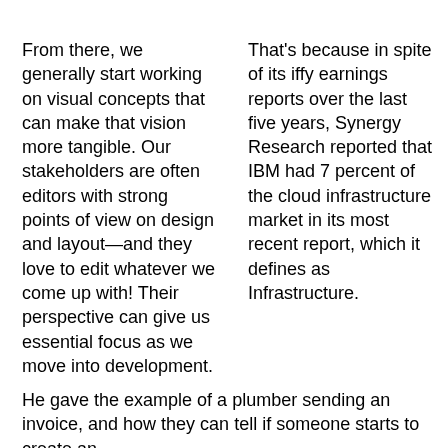From there, we generally start working on visual concepts that can make that vision more tangible. Our stakeholders are often editors with strong points of view on design and layout—and they love to edit whatever we come up with! Their perspective can give us essential focus as we move into development.
That's because in spite of its iffy earnings reports over the last five years, Synergy Research reported that IBM had 7 percent of the cloud infrastructure market in its most recent report, which it defines as Infrastructure.
He gave the example of a plumber sending an invoice, and how they can tell if someone starts to create an